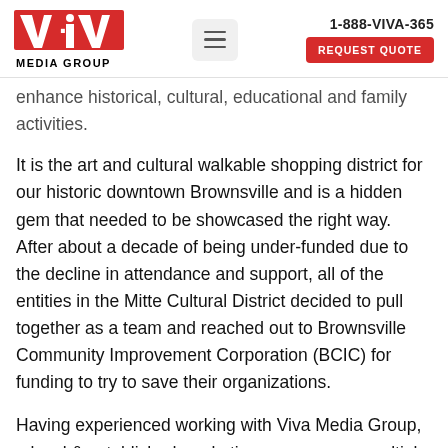VIVA MEDIA GROUP | 1-888-VIVA-365 | REQUEST QUOTE
enhance historical, cultural, educational and family activities.
It is the art and cultural walkable shopping district for our historic downtown Brownsville and is a hidden gem that needed to be showcased the right way. After about a decade of being under-funded due to the decline in attendance and support, all of the entities in the Mitte Cultural District decided to pull together as a team and reached out to Brownsville Community Improvement Corporation (BCIC) for funding to try to save their organizations.
Having experienced working with Viva Media Group, a local & established marketing company, on multiple